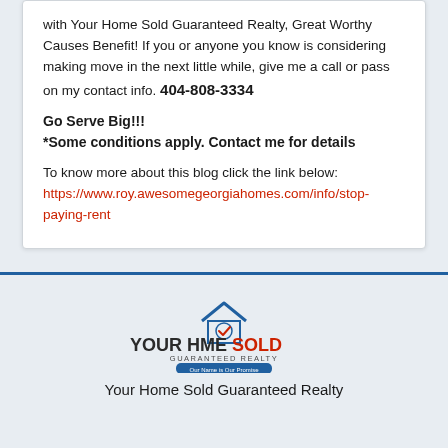with Your Home Sold Guaranteed Realty, Great Worthy Causes Benefit! If you or anyone you know is considering making move in the next little while, give me a call or pass on my contact info. 404-808-3334
Go Serve Big!!!
*Some conditions apply. Contact me for details
To know more about this blog click the link below: https://www.roy.awesomegeorgiahomes.com/info/stop-paying-rent
[Figure (logo): Your Home Sold Guaranteed Realty logo with house icon and checkmark]
Your Home Sold Guaranteed Realty